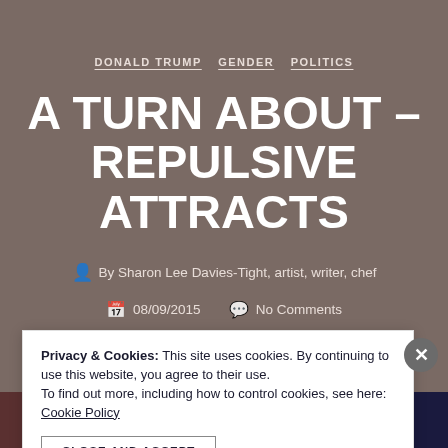DONALD TRUMP   GENDER   POLITICS
A TURN ABOUT – REPULSIVE ATTRACTS
By Sharon Lee Davies-Tight, artist, writer, chef
08/09/2015   No Comments
Privacy & Cookies: This site uses cookies. By continuing to use this website, you agree to their use.
To find out more, including how to control cookies, see here: Cookie Policy
CLOSE AND ACCEPT